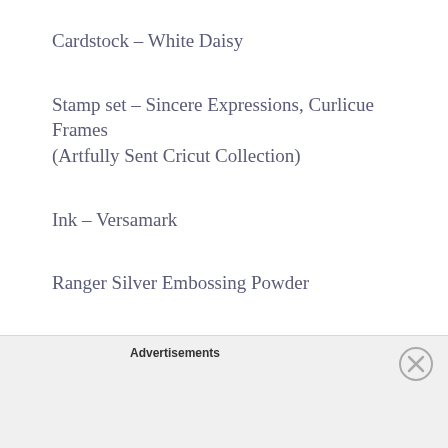Cardstock – White Daisy
Stamp set – Sincere Expressions, Curlicue Frames (Artfully Sent Cricut Collection)
Ink – Versamark
Ranger Silver Embossing Powder
Cricut Cartridges – Artfully Sent, Artiste, Art Philosophy
Embossing Folders – Damask, Spots…
Advertisements